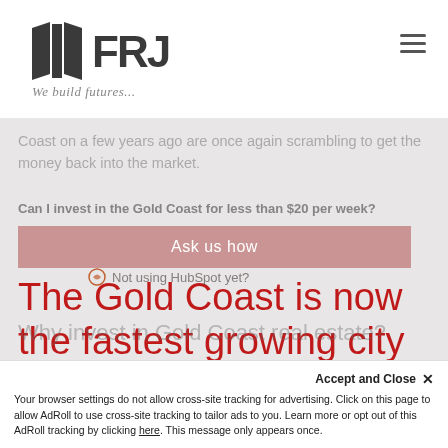[Figure (logo): FRD logo with dark building/book icon and FRD text, with tagline 'We build futures...']
Coast on a few years ago are once again scrambling to get the money back into the market.
Can I invest in the Gold Coast for less than $20 per week?
Ask us how
Not using HubSpot yet?
The Gold Coast is now the fastest growing city in the country
Why invest in Gold Coast real estate?
Accept and Close ✕
Your browser settings do not allow cross-site tracking for advertising. Click on this page to allow AdRoll to use cross-site tracking to tailor ads to you. Learn more or opt out of this AdRoll tracking by clicking here. This message only appears once.